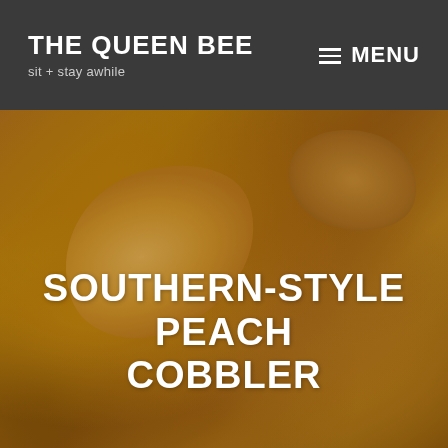THE QUEEN BEE
sit + stay awhile
MENU
[Figure (photo): Close-up photograph of southern-style peach cobbler showing golden peach slices coated in a spiced, syrupy sauce with biscuit topping]
SOUTHERN-STYLE PEACH COBBLER